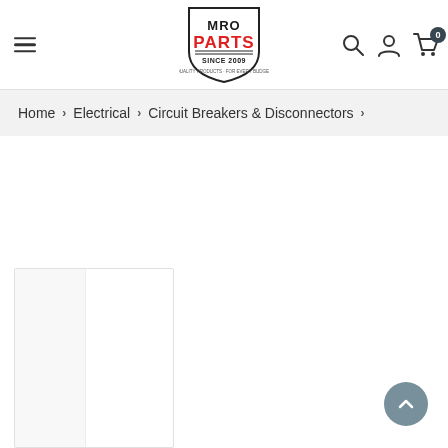MRO PARTS SINCE 2009 — header with logo, search, account, and cart icons
Home > Electrical > Circuit Breakers & Disconnectors >
[Figure (screenshot): Partially visible product thumbnail card at the bottom-left of the page, showing a white card with a left panel in light gray.]